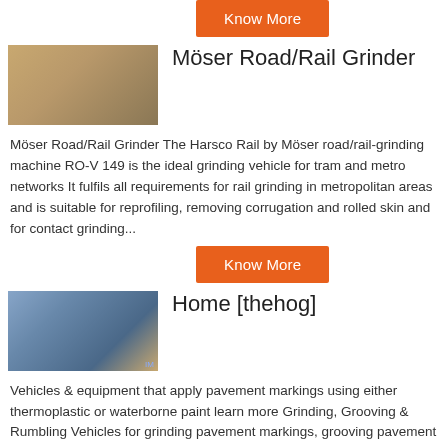Know More
Möser Road/Rail Grinder
Möser Road/Rail Grinder The Harsco Rail by Möser road/rail-grinding machine RO-V 149 is the ideal grinding vehicle for tram and metro networks It fulfils all requirements for rail grinding in metropolitan areas and is suitable for reprofiling, removing corrugation and rolled skin and for contact grinding...
Know More
Home [thehog]
Vehicles & equipment that apply pavement markings using either thermoplastic or waterborne paint learn more Grinding, Grooving & Rumbling Vehicles for grinding pavement markings, grooving pavement for inlaid markings, or cutting rumble strips learn more Cleaning...
Know More
Automotive Tools & Equipment - Amazon
NEXPOW Car Jump Starter, 1500A Peak 12800mAh